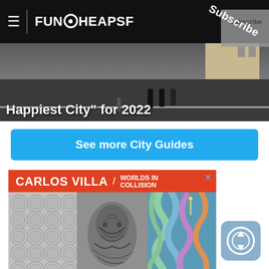FunCheapSF — Subscribe
[Figure (photo): Street scene photograph showing pedestrians on a city street, used as hero image background with text 'Happiest City" for 2022']
Happiest City" for 2022
See more City Guides
[Figure (advertisement): Carlos Villa / Worlds in Collision advertisement for Asian Art Museum featuring three art images: coin pattern, face portrait, abstract colorful artwork. Footer shows Asian Art Museum logo and NOW ON VIEW text.]
[Figure (other): Scroll control button with up/down arrows icon in blue-gray rounded square]